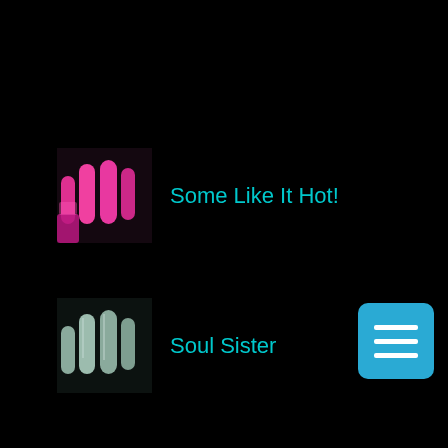Some Like It Hot!
Soul Sister
Into The Mystic!